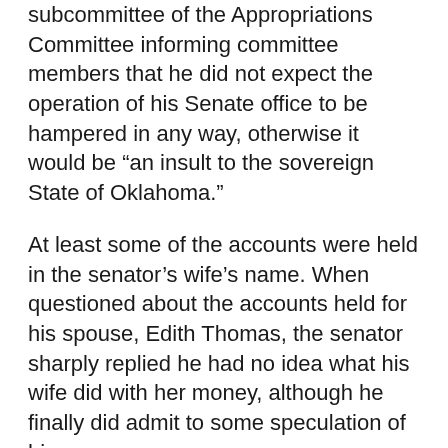subcommittee of the Appropriations Committee informing committee members that he did not expect the operation of his Senate office to be hampered in any way, otherwise it would be “an insult to the sovereign State of Oklahoma.”
At least some of the accounts were held in the senator’s wife’s name. When questioned about the accounts held for his spouse, Edith Thomas, the senator sharply replied he had no idea what his wife did with her money, although he finally did admit to some speculation of his own.
Elmer Thomas’s own reputation never entirely recovered.
The allegations ensured Thomas would once again have a serious opponent inside the